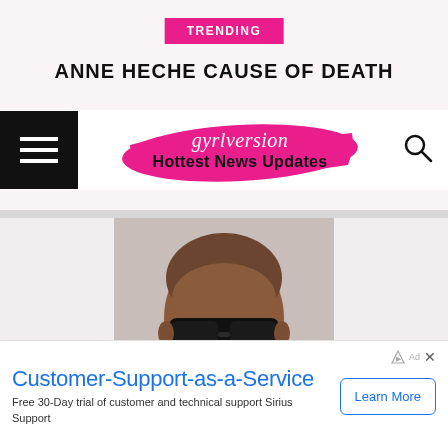TRENDING
ANNE HECHE CAUSE OF DEATH
[Figure (logo): gyrlversion Hottest News Updates logo with pink brush stroke background]
[Figure (photo): Close-up photo of a person with dark sunglasses and shaved head]
Customer-Support-as-a-Service
Free 30-Day trial of customer and technical support Sirius Support
Learn More